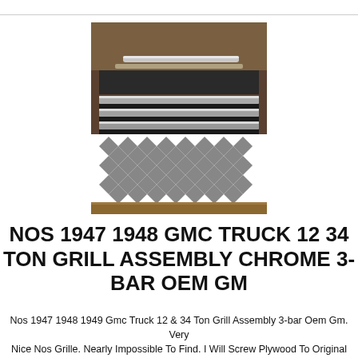[Figure (photo): Photo of a vintage GMC truck grill assembly chrome 3-bar, showing chrome bars on a wooden crate with a patterned fabric background.]
NOS 1947 1948 GMC TRUCK 12 34 TON GRILL ASSEMBLY CHROME 3-BAR OEM GM
Nos 1947 1948 1949 Gmc Truck 12 & 34 Ton Grill Assembly 3-bar Oem Gm. Very Nice Nos Grille. Nearly Impossible To Find. I Will Screw Plywood To Original Crate To Enclose When Shipped. Some Small Minor Imperfections. You Can Always Call With Questions. 5033120983